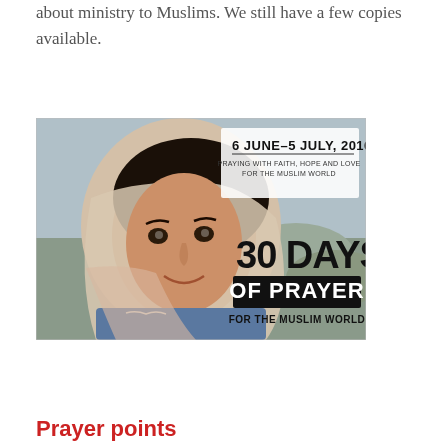about ministry to Muslims. We still have a few copies available.
[Figure (photo): Book cover / promotional image for '30 Days of Prayer for the Muslim World', 6 June–5 July, 2016. Shows a young girl wearing a head covering, with text overlay: '6 JUNE–5 JULY, 2016 / PRAYING WITH FAITH, HOPE AND LOVE FOR THE MUSLIM WORLD / 30 DAYS OF PRAYER / FOR THE MUSLIM WORLD'.]
Prayer points